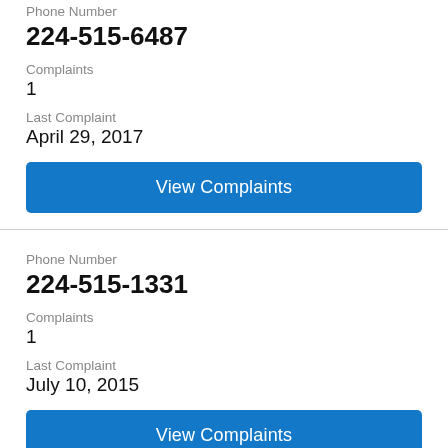Phone Number
224-515-6487
Complaints
1
Last Complaint
April 29, 2017
View Complaints
Phone Number
224-515-1331
Complaints
1
Last Complaint
July 10, 2015
View Complaints